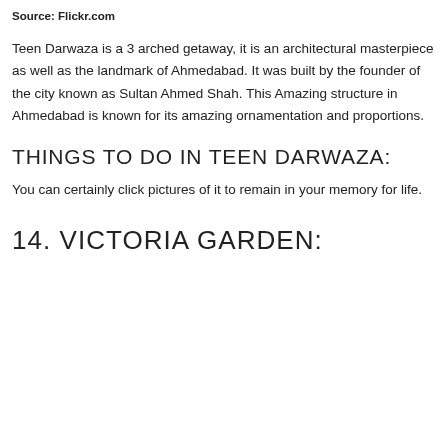Source: Flickr.com
Teen Darwaza is a 3 arched getaway, it is an architectural masterpiece as well as the landmark of Ahmedabad. It was built by the founder of the city known as Sultan Ahmed Shah. This Amazing structure in Ahmedabad is known for its amazing ornamentation and proportions.
THINGS TO DO IN TEEN DARWAZA:
You can certainly click pictures of it to remain in your memory for life.
14. VICTORIA GARDEN: